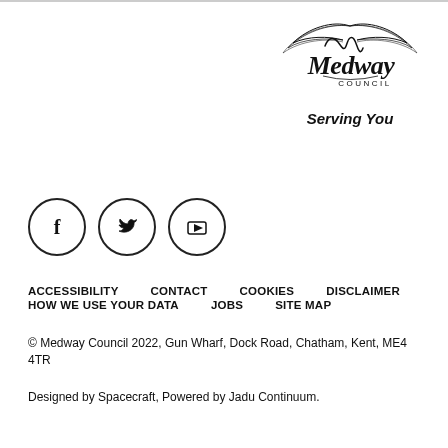[Figure (logo): Medway Council logo with stylized bird wings above the text 'Medway Council' and tagline 'Serving You']
[Figure (illustration): Three social media icons in circles: Facebook (f), Twitter (bird), YouTube (play button)]
ACCESSIBILITY   CONTACT   COOKIES   DISCLAIMER
HOW WE USE YOUR DATA   JOBS   SITE MAP
© Medway Council 2022, Gun Wharf, Dock Road, Chatham, Kent, ME4 4TR
Designed by Spacecraft, Powered by Jadu Continuum.